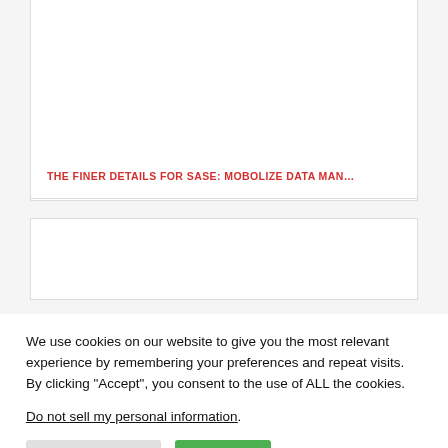[Figure (other): Top card with blank image area]
THE FINER DETAILS FOR SASE: MOBOLIZE DATA MAN…
[Figure (other): Second card with partial blank image area]
We use cookies on our website to give you the most relevant experience by remembering your preferences and repeat visits. By clicking “Accept”, you consent to the use of ALL the cookies.
Do not sell my personal information.
Cookie Settings
Accept